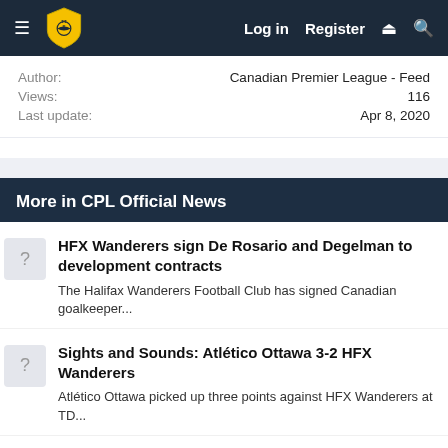TTP | Log in | Register
Author: Canadian Premier League - Feed
Views: 116
Last update: Apr 8, 2020
More in CPL Official News
HFX Wanderers sign De Rosario and Degelman to development contracts — The Halifax Wanderers Football Club has signed Canadian goalkeeper...
Sights and Sounds: Atlético Ottawa 3-2 HFX Wanderers — Atlético Ottawa picked up three points against HFX Wanderers at TD...
Match Analysis: Atlético Ottawa 3-2 HFX